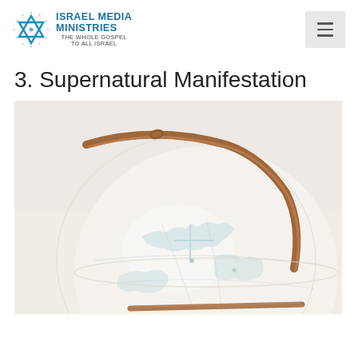[Figure (logo): Israel Media Ministries logo with Star of David and text 'THE WHOLE GOSPEL TO ALL ISRAEL']
3. Supernatural Manifestation
[Figure (photo): Close-up photograph of a vintage globe with light blue continents on white background, wooden meridian arc stand, photographed from above at an angle showing Asia/Middle East region]